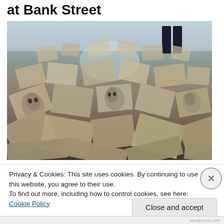at Bank Street
[Figure (photo): Floor covered with hundreds of scattered printed photographs and papers, some showing portrait faces. A person's legs visible in background against a white wall.]
Privacy & Cookies: This site uses cookies. By continuing to use this website, you agree to their use.
To find out more, including how to control cookies, see here: Cookie Policy
Close and accept